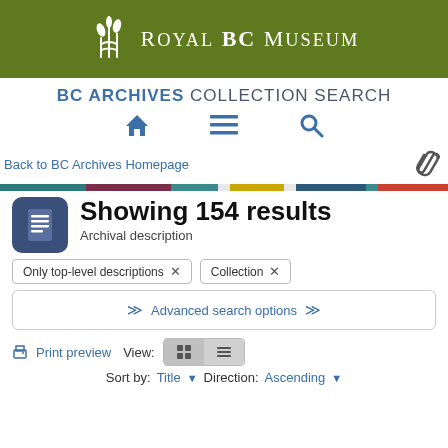[Figure (logo): Royal BC Museum logo — white figure icon with wheat/leaf motif and text 'Royal BC Museum' on olive green background]
BC ARCHIVES COLLECTION SEARCH
[Figure (infographic): Navigation icons: home icon, hamburger menu icon, magnifying glass search icon]
Back to BC Archives Homepage
[Figure (infographic): Color stripe bar with teal, maroon, teal, yellow, slate, and red segments]
Showing 154 results
Archival description
Only top-level descriptions ×   Collection ×
Advanced search options
Print preview   View:   Sort by: Title ▼   Direction: Ascending ▼